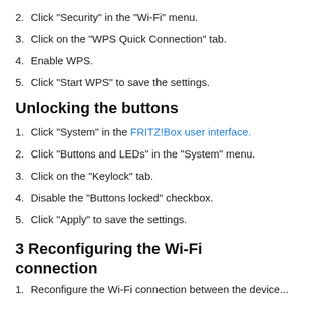2. Click "Security" in the "Wi-Fi" menu.
3. Click on the "WPS Quick Connection" tab.
4. Enable WPS.
5. Click "Start WPS" to save the settings.
Unlocking the buttons
1. Click "System" in the FRITZ!Box user interface.
2. Click "Buttons and LEDs" in the "System" menu.
3. Click on the "Keylock" tab.
4. Disable the "Buttons locked" checkbox.
5. Click "Apply" to save the settings.
3 Reconfiguring the Wi-Fi connection
1. Reconfigure the Wi-Fi connection between the device...